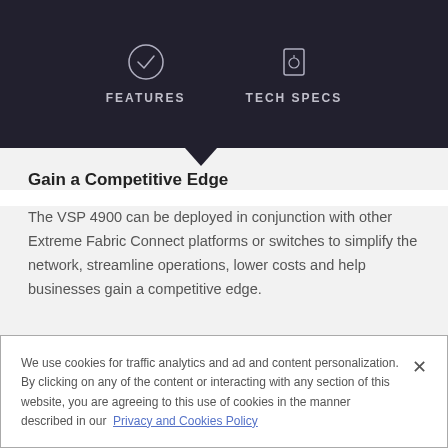FEATURES  TECH SPECS
Gain a Competitive Edge
The VSP 4900 can be deployed in conjunction with other Extreme Fabric Connect platforms or switches to simplify the network, streamline operations, lower costs and help businesses gain a competitive edge.
We use cookies for traffic analytics and ad and content personalization. By clicking on any of the content or interacting with any section of this website, you are agreeing to this use of cookies in the manner described in our Privacy and Cookies Policy